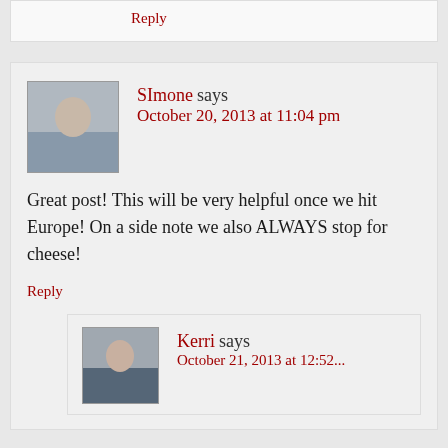Reply
SImone says
October 20, 2013 at 11:04 pm
Great post! This will be very helpful once we hit Europe! On a side note we also ALWAYS stop for cheese!
Reply
Kerri says
October 21, 2013 at 12:52...